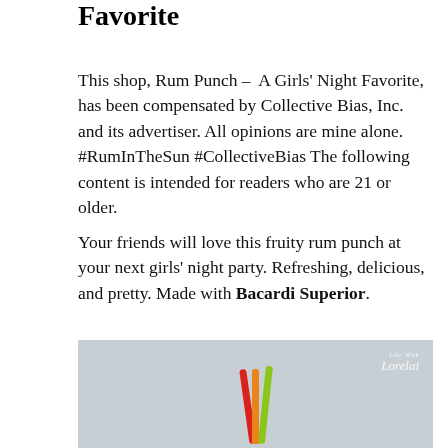Favorite
This shop, Rum Punch – A Girls' Night Favorite, has been compensated by Collective Bias, Inc. and its advertiser. All opinions are mine alone. #RumInTheSun #CollectiveBias The following content is intended for readers who are 21 or older.
Your friends will love this fruity rum punch at your next girls' night party. Refreshing, delicious, and pretty. Made with Bacardi Superior.
[Figure (photo): Photo of colorful drink straws (red, orange, green, yellow) against a light grey background with 'Life With Lorelai' watermark logo in the top right corner.]